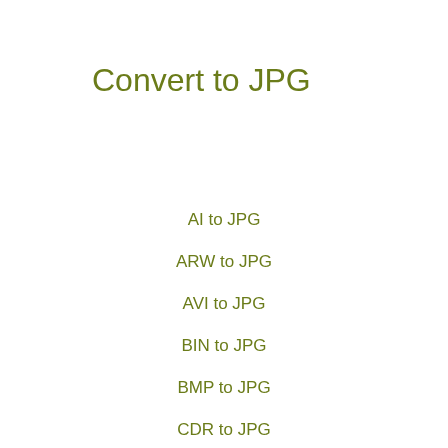Convert to JPG
AI to JPG
ARW to JPG
AVI to JPG
BIN to JPG
BMP to JPG
CDR to JPG
CR2 to JPG
CSV to JPG
DCM to JPG